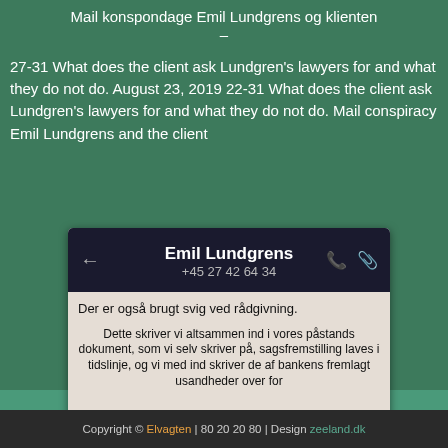Mail konspondage Emil Lundgrens og klienten
27-31 What does the client ask Lundgren's lawyers for and what they do not do. August 23, 2019 22-31 What does the client ask Lundgren's lawyers for and what they do not do. Mail conspiracy Emil Lundgrens and the client
[Figure (screenshot): WhatsApp screenshot showing Emil Lundgrens contact (+45 27 42 64 34) with two Danish messages: 'Der er også brugt svig ved rådgivning.' and 'Dette skriver vi altsammen ind i vores påstands dokument, som vi selv skriver på, sagsfremstilling laves i tidslinje, og vi med ind skriver de af bankens fremlagt usandheder over for']
Copyright © Elvagten | 80 20 20 80 | Design zeeland.dk